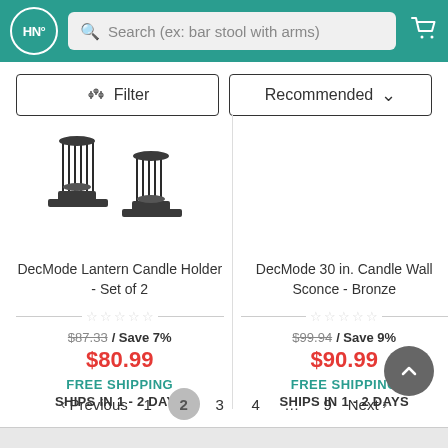HN° Search (ex: bar stool with arms)
Filter | Recommended
[Figure (photo): DecMode Lantern Candle Holder - Set of 2 product photo showing two dark metal candle holders with vertical bars]
DecMode Lantern Candle Holder - Set of 2
$87.33 / Save 7% $80.99 FREE SHIPPING SHIPS IN 1 - 2 DAYS
DecMode 30 in. Candle Wall Sconce - Bronze
$99.94 / Save 9% $90.99 FREE SHIPPING SHIPS IN 1 - 2 DAYS
< Previous 1 2 3 4 … 9 Next >